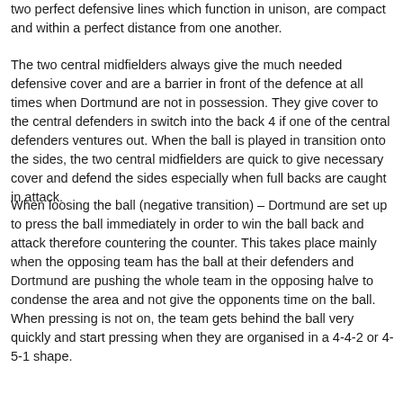two perfect defensive lines which function in unison, are compact and within a perfect distance from one another.
The two central midfielders always give the much needed defensive cover and are a barrier in front of the defence at all times when Dortmund are not in possession. They give cover to the central defenders in switch into the back 4 if one of the central defenders ventures out. When the ball is played in transition onto the sides, the two central midfielders are quick to give necessary cover and defend the sides especially when full backs are caught in attack.
When loosing the ball (negative transition) – Dortmund are set up to press the ball immediately in order to win the ball back and attack therefore countering the counter. This takes place mainly when the opposing team has the ball at their defenders and Dortmund are pushing the whole team in the opposing halve to condense the area and not give the opponents time on the ball. When pressing is not on, the team gets behind the ball very quickly and start pressing when they are organised in a 4-4-2 or 4-5-1 shape.